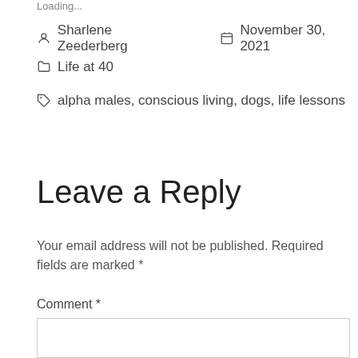Loading...
Sharlene Zeederberg   November 30, 2021
Life at 40
alpha males, conscious living, dogs, life lessons
Leave a Reply
Your email address will not be published. Required fields are marked *
Comment *